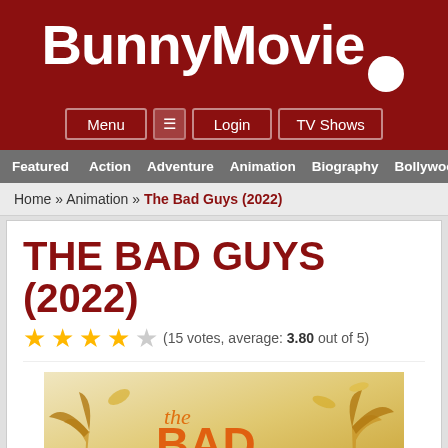BunnyMovie
Menu | Login | TV Shows
Featured  Action  Adventure  Animation  Biography  Bollywood
Home » Animation » The Bad Guys (2022)
THE BAD GUYS (2022)
(15 votes, average: 3.80 out of 5)
[Figure (photo): Movie poster for The Bad Guys (2022) showing orange and gold illustrated title text with palm trees]